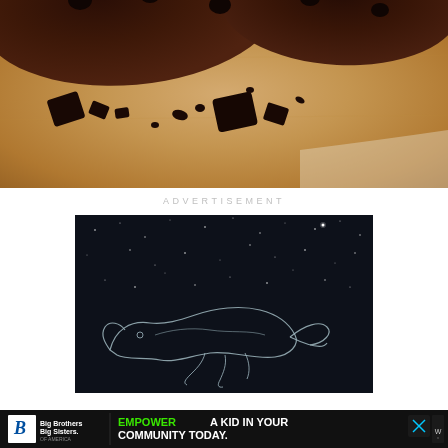[Figure (photo): Close-up photo of chocolate chip cookies or brownies on crinkled brown parchment paper, with chunks and pieces of dark chocolate scattered around]
ADVERTISEMENT
[Figure (illustration): Advertisement image with dark navy/black starfield background and white line drawing of a whale or sea creature floating in space]
[Figure (infographic): Bottom banner advertisement for Big Brothers Big Sisters: 'EMPOWER A KID IN YOUR COMMUNITY TODAY.' with a Learn How button, logo, and close/weather icons]